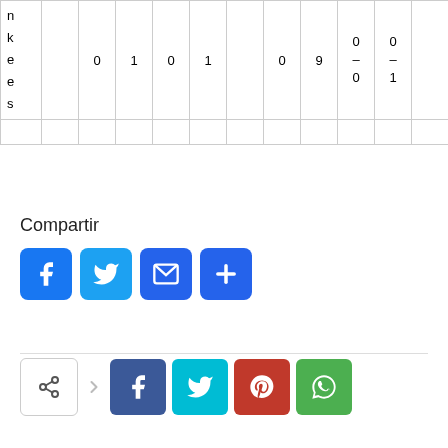| n
k
e
e
s |  | 0 | 1 | 0 | 1 |  | 0 | 9 | 0
–
0 | 0
–
1 |  | 1
D |  | 0
–
1 | 1 |
|  |  |  |  |  |  |  |  |  |  |  |  |  |  |  |  |
Compartir
[Figure (infographic): Social share buttons row 1: Facebook (blue), Twitter (light blue), Email (blue envelope), Plus/More (blue plus sign)]
[Figure (infographic): Social share buttons row 2: share icon with arrow, Facebook (dark blue), Twitter (cyan), Pinterest (red), WhatsApp (green)]